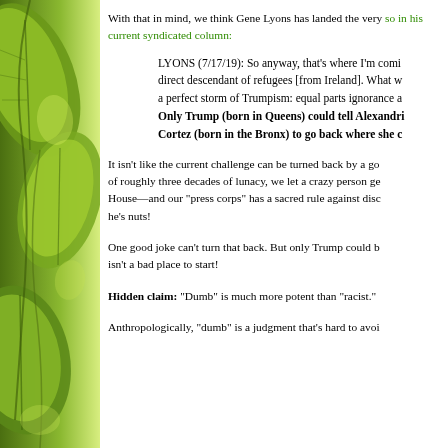[Figure (photo): Green leafy plant photo used as decorative sidebar on the left side of the page]
With that in mind, we think Gene Lyons has landed the very so in his current syndicated column:
LYONS (7/17/19): So anyway, that's where I'm comi direct descendant of refugees [from Ireland]. What w a perfect storm of Trumpism: equal parts ignorance a Only Trump (born in Queens) could tell Alexandri Cortez (born in the Bronx) to go back where she c
It isn't like the current challenge can be turned back by a go of roughly three decades of lunacy, we let a crazy person ge House—and our "press corps" has a sacred rule against disc he's nuts!
One good joke can't turn that back. But only Trump could b isn't a bad place to start!
Hidden claim: "Dumb" is much more potent than "racist."
Anthropologically, "dumb" is a judgment that's hard to avoi